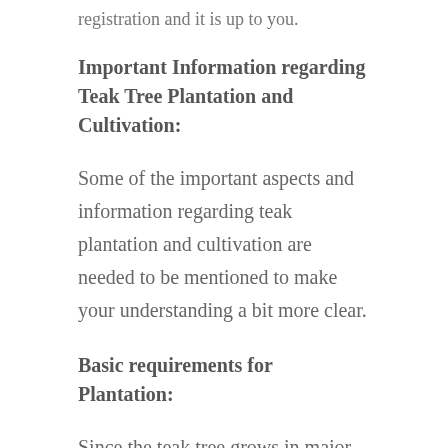registration and it is up to you.
Important Information regarding Teak Tree Plantation and Cultivation:
Some of the important aspects and information regarding teak plantation and cultivation are needed to be mentioned to make your understanding a bit more clear.
Basic requirements for Plantation:
Since the teak tree grows in major parts of India from Central India to Southern India